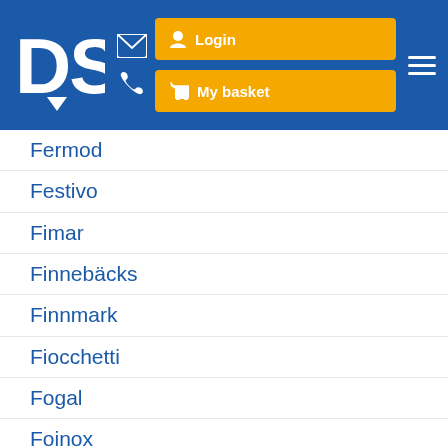DSU Logo | Login | My basket
Fermod
Festivo
Fimar
Finnebäcks
Finnmark
Fiocchetti
Fogal
Foinox
Forcar
Forcold
Foster
Framec
Franke
F.R.C.
Free Cee